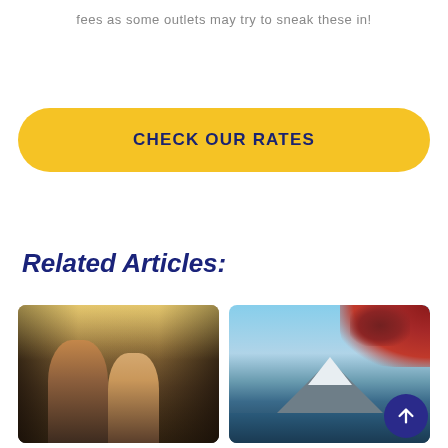fees as some outlets may try to sneak these in!
CHECK OUR RATES
Related Articles:
[Figure (photo): Street market scene with people walking through a covered shopping arcade with colorful signs and lights]
[Figure (photo): Mount Fuji with snow cap reflected in a lake, framed by red autumn leaves and blue sky]